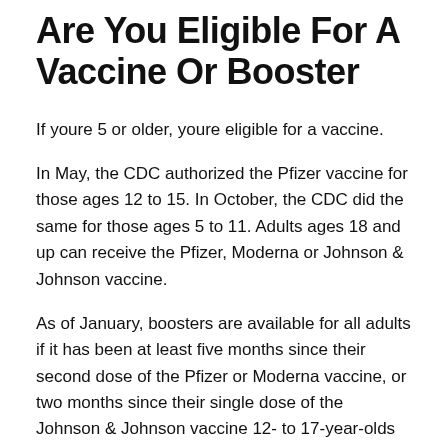Are You Eligible For A Vaccine Or Booster
If youre 5 or older, youre eligible for a vaccine.
In May, the CDC authorized the Pfizer vaccine for those ages 12 to 15. In October, the CDC did the same for those ages 5 to 11. Adults ages 18 and up can receive the Pfizer, Moderna or Johnson & Johnson vaccine.
As of January, boosters are available for all adults if it has been at least five months since their second dose of the Pfizer or Moderna vaccine, or two months since their single dose of the Johnson & Johnson vaccine 12- to 17-year-olds can receive booster doses of the Pfizer vaccine. Boosters have not been approved for people 11 and under.
State officials are recommending that anyone who is eligible